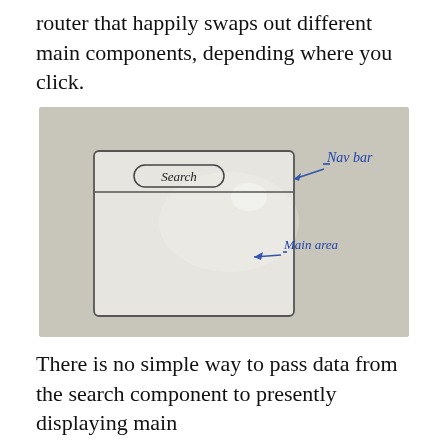router that happily swaps out different main components, depending where you click.
[Figure (illustration): Hand-drawn whiteboard sketch showing a simple UI layout with a nav bar at the top containing a 'Search' input, and a large main area below. Annotations in blue handwriting label 'Nav bar' and 'Main area' with arrows.]
There is no simple way to pass data from the search component to presently displaying main